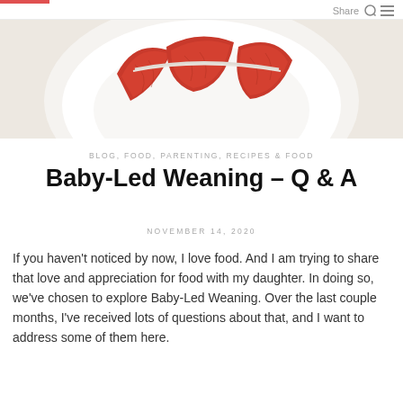Share
[Figure (photo): Overhead view of a white ceramic bowl containing red tomato slices on a light beige background]
BLOG, FOOD, PARENTING, RECIPES & FOOD
Baby-Led Weaning – Q & A
NOVEMBER 14, 2020
If you haven't noticed by now, I love food. And I am trying to share that love and appreciation for food with my daughter. In doing so, we've chosen to explore Baby-Led Weaning. Over the last couple months, I've received lots of questions about that, and I want to address some of them here.